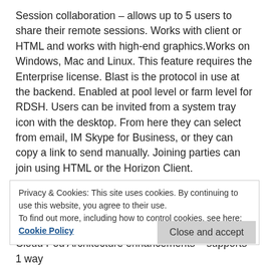Session collaboration – allows up to 5 users to share their remote sessions. Works with client or HTML and works with high-end graphics.Works on Windows, Mac and Linux. This feature requires the Enterprise license. Blast is the protocol in use at the backend. Enabled at pool level or farm level for RDSH. Users can be invited from a system tray icon with the desktop. From here they can select from email, IM Skype for Business, or they can copy a link to send manually. Joining parties can join using HTML or the Horizon Client.
H264 High colour accuracy with 4:4:4 colourspace. Helps stop colour distortion. Particularly useful in high end
Privacy & Cookies: This site uses cookies. By continuing to use this website, you agree to their use.
To find out more, including how to control cookies, see here: Cookie Policy
Cloud Pod Architecture enhancements – supports 1 way